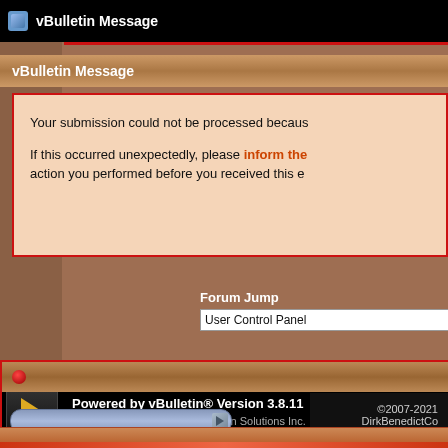vBulletin Message
vBulletin Message
Your submission could not be processed becaus

If this occurred unexpectedly, please inform the action you performed before you received this e
Forum Jump
User Control Panel
All times are GMT -6. The tim
Powered by vBulletin® Version 3.8.11
Copyright ©2000 - 2022, vBulletin Solutions Inc.
©2007-2021 DirkBenedictCo
Webmaster- John Pic